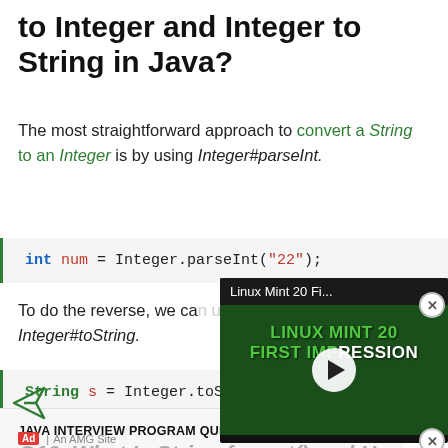to Integer and Integer to String in Java?
The most straightforward approach to convert a String to an Integer is by using Integer#parseInt.
[Figure (screenshot): Code block showing: int num = Integer.parseInt("22");]
To do the reverse, we can use Integer#toString.
[Figure (screenshot): Code block showing: String s = Integer.toString(num);]
[Figure (screenshot): Video overlay showing Linux Mint 20 First Impression video thumbnail with play button]
JAVA INTERVIEW PROGRAM QUESTIONS >
Ad | An AMG Site
Q10. What Is String.format() and How Can We Use It?